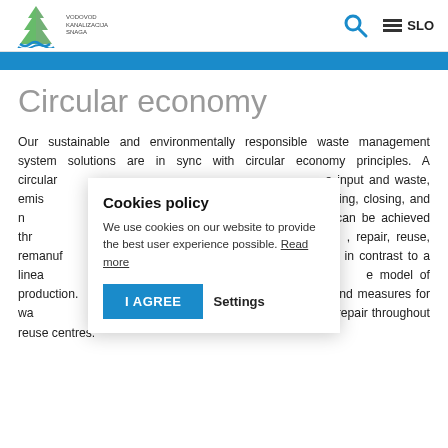Vodovod Kanalizacija Snaga — logo header with search and SLO menu
Circular economy
Our sustainable and environmentally responsible waste management system solutions are in sync with circular economy principles. A circular economy is one in which the use of input and waste, emissions and energy are minimised by slowing, closing, and narrowing material and energy loops. This can be achieved through long-lasting design, maintenance, repair, reuse, remanufacturing, refurbishing, and recycling. This is in contrast to a linear economy which is a 'take, make, dispose' model of production. We carry out numerous activities, projects and measures for waste prevention (avoidance and reduction of waste), reuse and repair throughout reuse centres.
Cookies policy
We use cookies on our website to provide the best user experience possible. Read more
I AGREE   Settings